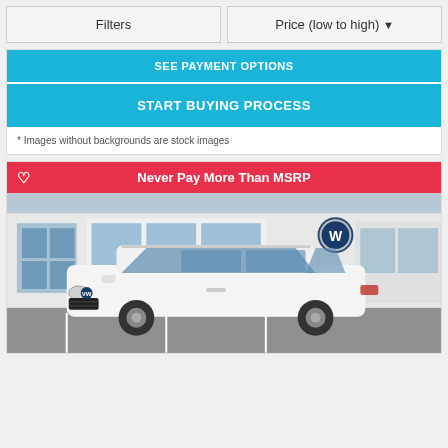Filters
Price (low to high) ▼
SEE PAYMENT OPTIONS
START BUYING PROCESS
* Images without backgrounds are stock images
Never Pay More Than MSRP
[Figure (photo): White Volkswagen Atlas SUV parked in front of a Volkswagen dealership building]